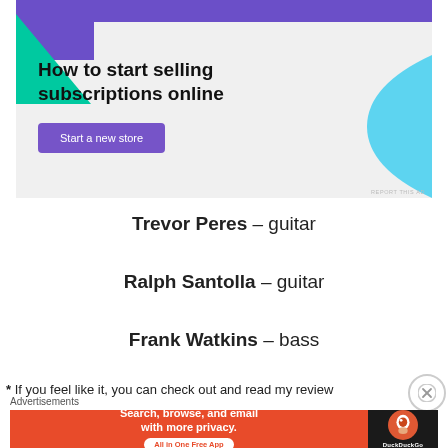[Figure (illustration): Advertisement banner: 'How to start selling subscriptions online' with a 'Start a new store' button, purple, green and blue decorative shapes on grey background.]
Trevor Peres – guitar
Ralph Santolla – guitar
Frank Watkins – bass
* If you feel like it, you can check out and read my review
Advertisements
[Figure (illustration): DuckDuckGo advertisement: 'Search, browse, and email with more privacy. All in One Free App' on orange background with DuckDuckGo logo on dark background.]